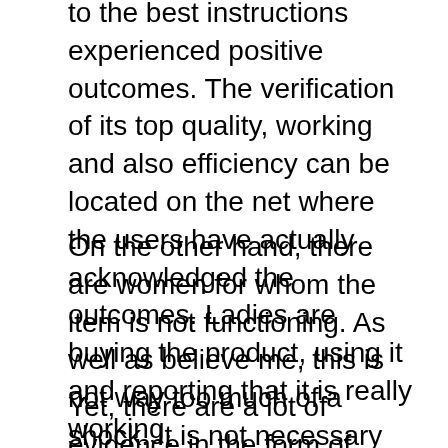to the best instructions experienced positive outcomes. The verification of its top quality, working and also efficiency can be located on the net where the users have actually acknowledged the outcomes. Ladies are buying the product, using it and reporting that it is really working.
On the other hand, there are women for whom the item is not functioning. As well as believe me, this is not way too much of a shock. It is not necessary that a product can benefit everyone. What help one may not benefit various other. It simply doesn’t occur.
Yet, there are a lot of evidence in the form of testimonies that reveal it function. Provide this item a shot and also I make sure you will